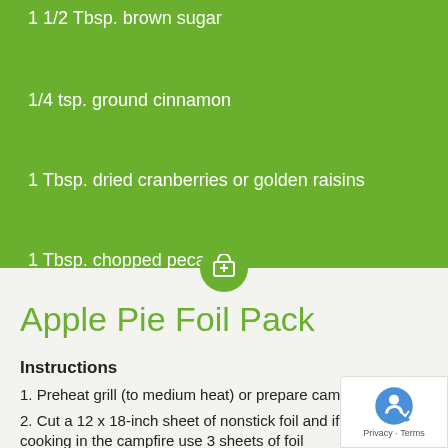1 1/2 Tbsp. brown sugar
1/4 tsp. ground cinnamon
1 Tbsp. dried cranberries or golden raisins
1 Tbsp. chopped pecans
Apple Pie Foil Pack
Instructions
1. Preheat grill (to medium heat) or prepare camp
2. Cut a 12 x 18-inch sheet of nonstick foil and if
cooking in the campfire use 3 sheets of foil